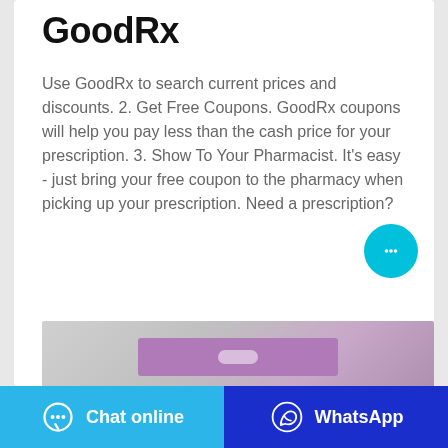GoodRx
Use GoodRx to search current prices and discounts. 2. Get Free Coupons. GoodRx coupons will help you pay less than the cash price for your prescription. 3. Show To Your Pharmacist. It's easy - just bring your free coupon to the pharmacy when picking up your prescription. Need a prescription?
[Figure (screenshot): Two green action buttons: 'Contact the manufacturer' and 'WhatsApp']
[Figure (photo): Partial photo of a purple/lavender pill packet or blister pack on a grey surface]
[Figure (screenshot): Bottom navigation bar with 'Chat online' (blue) and 'WhatsApp' (dark blue) buttons]